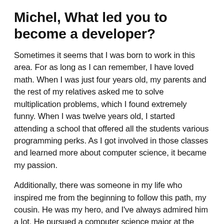Michel, What led you to become a developer?
Sometimes it seems that I was born to work in this area. For as long as I can remember, I have loved math. When I was just four years old, my parents and the rest of my relatives asked me to solve multiplication problems, which I found extremely funny. When I was twelve years old, I started attending a school that offered all the students various programming perks. As I got involved in those classes and learned more about computer science, it became my passion.
Additionally, there was someone in my life who inspired me from the beginning to follow this path, my cousin. He was my hero, and I've always admired him a lot. He pursued a computer science major at the same school, and I followed his path. From the